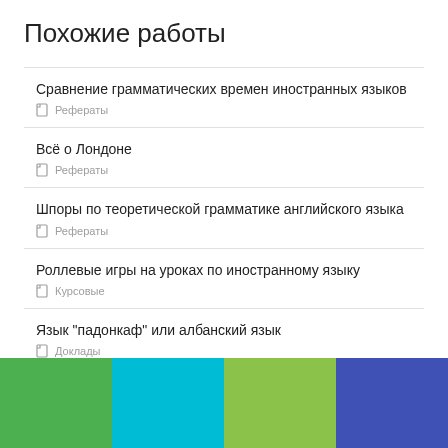Похожие работы
Сравнение грамматических времен иностранных языков
Рефераты
Всё о Лондоне
Рефераты
Шпоры по теоретической грамматике английского языка
Рефераты
Роллевые игры на уроках по иностранному языку
Курсовые
Язык "падонкаф" или албанский язык
Доклады
[Figure (illustration): Color bar at bottom with four colored segments: green, cyan, olive-green, and dark blue]